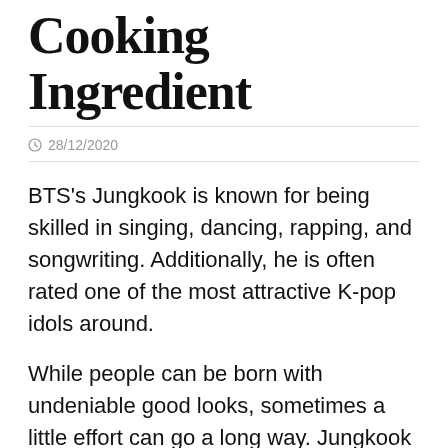Cooking Ingredient
28/12/2020
BTS's Jungkook is known for being skilled in singing, dancing, rapping, and songwriting. Additionally, he is often rated one of the most attractive K-pop idols around.
While people can be born with undeniable good looks, sometimes a little effort can go a long way. Jungkook and the rest of BTS often try to present their best selves to fans. For the youngest member, that means